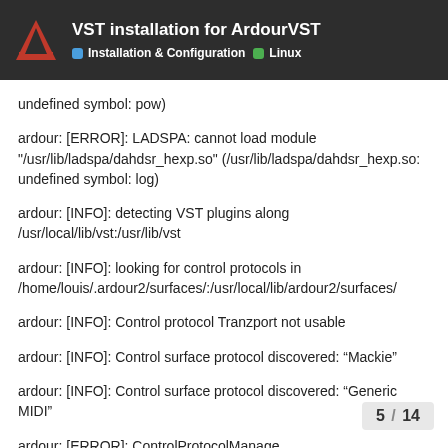VST installation for ArdourVST | Installation & Configuration | Linux
undefined symbol: pow)
ardour: [ERROR]: LADSPA: cannot load module "/usr/lib/ladspa/dahdsr_hexp.so" (/usr/lib/ladspa/dahdsr_hexp.so: undefined symbol: log)
ardour: [INFO]: detecting VST plugins along /usr/local/lib/vst:/usr/lib/vst
ardour: [INFO]: looking for control protocols in /home/louis/.ardour2/surfaces/:/usr/local/lib/ardour2/surfaces/
ardour: [INFO]: Control protocol Tranzport not usable
ardour: [INFO]: Control surface protocol discovered: “Mackie”
ardour: [INFO]: Control surface protocol discovered: “Generic MIDI”
ardour: [ERROR]: ControlProtocolManage "/usr/local/lib/ardour2/surfaces//libardour_v
5 / 14